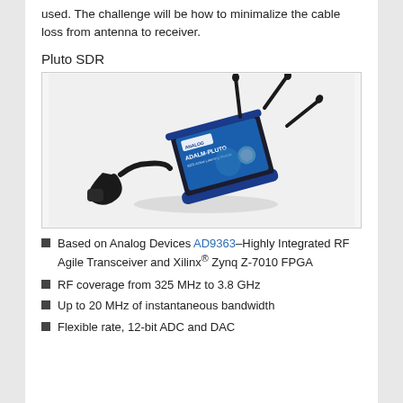used. The challenge will be how to minimalize the cable loss from antenna to receiver.
Pluto SDR
[Figure (photo): Photo of the ADALM-PLUTO SDR Active Learning Module by Analog Devices, a compact blue/black device with two antennas and a USB cable attached.]
Based on Analog Devices AD9363–Highly Integrated RF Agile Transceiver and Xilinx® Zynq Z-7010 FPGA
RF coverage from 325 MHz to 3.8 GHz
Up to 20 MHz of instantaneous bandwidth
Flexible rate, 12-bit ADC and DAC